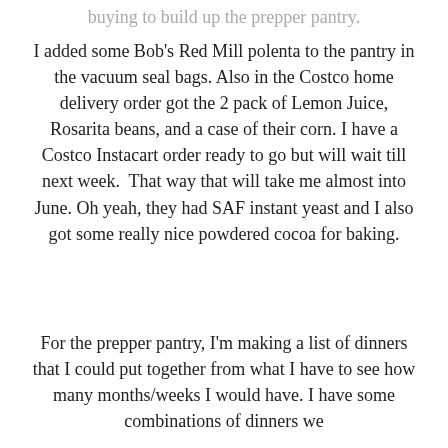buying to build up the prepper pantry.
I added some Bob's Red Mill polenta to the pantry in the vacuum seal bags. Also in the Costco home delivery order got the 2 pack of Lemon Juice, Rosarita beans, and a case of their corn. I have a Costco Instacart order ready to go but will wait till next week.  That way that will take me almost into June. Oh yeah, they had SAF instant yeast and I also got some really nice powdered cocoa for baking.
For the prepper pantry, I'm making a list of dinners that I could put together from what I have to see how many months/weeks I would have. I have some combinations of dinners we